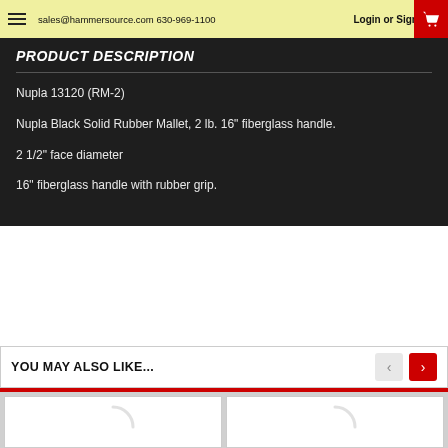sales@hammersource.com 630-969-1100   Login or Sign Up
PRODUCT DESCRIPTION
Nupla 13120 (RM-2)
Nupla Black Solid Rubber Mallet, 2 lb. 16" fiberglass handle.
2 1/2" face diameter
16" fiberglass handle with rubber grip.
YOU MAY ALSO LIKE...
[Figure (photo): Product image placeholder (loading spinner visible)]
[Figure (photo): Product image placeholder (loading spinner visible)]